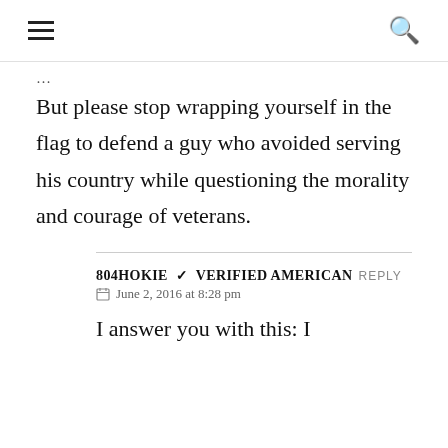≡ 🔍
But please stop wrapping yourself in the flag to defend a guy who avoided serving his country while questioning the morality and courage of veterans.
804HOKIE ✓ VERIFIED AMERICAN
June 2, 2016 at 8:28 pm
I answer you with this: I